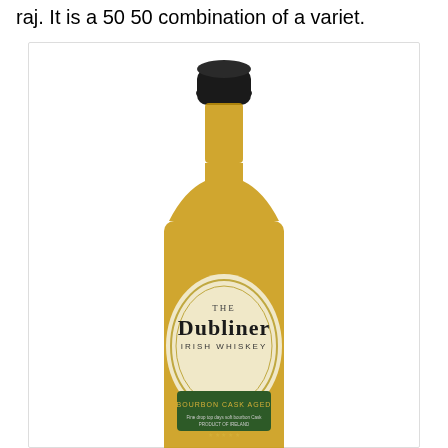raj. It is a 50 50 combination of a variet.
[Figure (photo): A bottle of The Dubliner Irish Whiskey, Bourbon Cask Aged, with a black cap and golden amber liquid inside, showing an oval label with the brand name.]
Source: www.pinterest.com
Jwb cr12 and of course monkey shoulder.